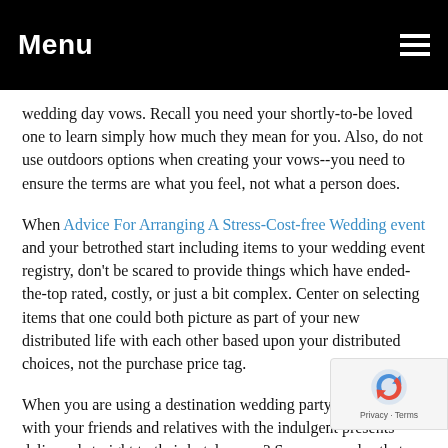Menu
wedding day vows. Recall you need your shortly-to-be loved one to learn simply how much they mean for you. Also, do not use outdoors options when creating your vows--you need to ensure the terms are what you feel, not what a person does.
When Advice For Arranging A Stress-Cost-free Wedding event and your betrothed start including items to your wedding event registry, don't be scared to provide things which have ended-the-top rated, costly, or just a bit complex. Center on selecting items that one could both picture as part of your new distributed life with each other based upon your distributed choices, not the purchase price tag.
When you are using a destination wedding party, why not deal with your friends and relatives with the indulgent presents delivered straight to their hotel rooms? Some examples that you need to put in the basket involve: non reusable